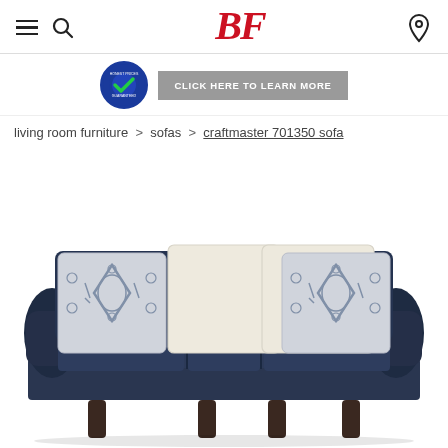BF - navigation header with hamburger menu, search icon, BF logo, and location icon
[Figure (logo): Honest Prices Guaranteed badge (blue circle with green checkmark) and gray 'CLICK HERE TO LEARN MORE' button]
living room furniture > sofas > craftmaster 701350 sofa
[Figure (photo): Craftmaster 701350 sofa in dark navy blue upholstery with four decorative pillows - two cream/ivory square pillows in center and two patterned blue/white accent pillows on sides, three seat cushions, rolled arms, and dark wood tapered legs]